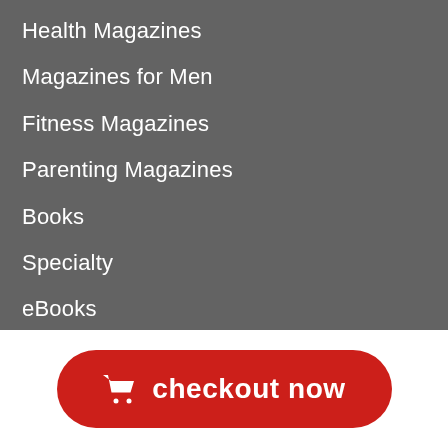Health Magazines
Magazines for Men
Fitness Magazines
Parenting Magazines
Books
Specialty
eBooks
Affiliate Program
Email Preferences
checkout now